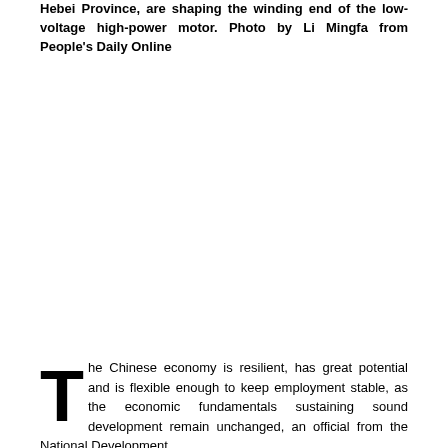Hebei Province, are shaping the winding end of the low-voltage high-power motor. Photo by Li Mingfa from People's Daily Online
[Figure (photo): Photo area showing factory workers in Hebei Province shaping the winding end of a low-voltage high-power motor (image content not visible in this crop)]
The Chinese economy is resilient, has great potential and is flexible enough to keep employment stable, as the economic fundamentals sustaining sound development remain unchanged, an official from the National Development